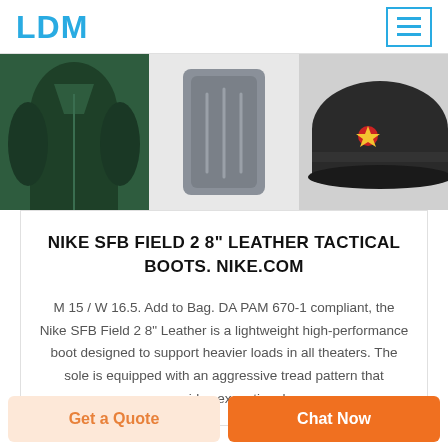LDM
[Figure (photo): Three product images in a horizontal strip: a dark green military jacket on the left, a grey ballistic plate in the center, and a black military/police cap on the right.]
NIKE SFB FIELD 2 8" LEATHER TACTICAL BOOTS. NIKE.COM
M 15 / W 16.5. Add to Bag. DA PAM 670-1 compliant, the Nike SFB Field 2 8" Leather is a lightweight high-performance boot designed to support heavier loads in all theaters. The sole is equipped with an aggressive tread pattern that provides exceptional